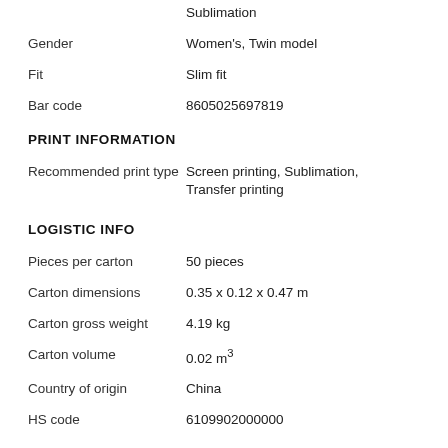Sublimation
Gender: Women's, Twin model
Fit: Slim fit
Bar code: 8605025697819
PRINT INFORMATION
Recommended print type: Screen printing, Sublimation, Transfer printing
LOGISTIC INFO
Pieces per carton: 50 pieces
Carton dimensions: 0.35 x 0.12 x 0.47 m
Carton gross weight: 4.19 kg
Carton volume: 0.02 m³
Country of origin: China
HS code: 6109902000000